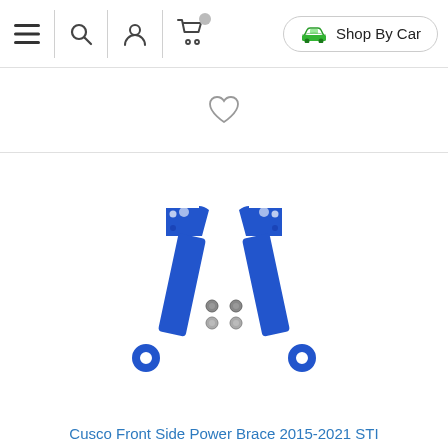[Figure (screenshot): Navigation bar with hamburger menu icon, search icon, account/person icon, and shopping cart icon with badge. A 'Shop By Car' button with green car icon is on the right.]
[Figure (other): Heart/wishlist icon centered below the navigation bar.]
[Figure (photo): Product photo of two blue Cusco Front Side Power Brace arms and hardware (bolts/nuts), displayed on white background.]
Cusco Front Side Power Brace 2015-2021 STI